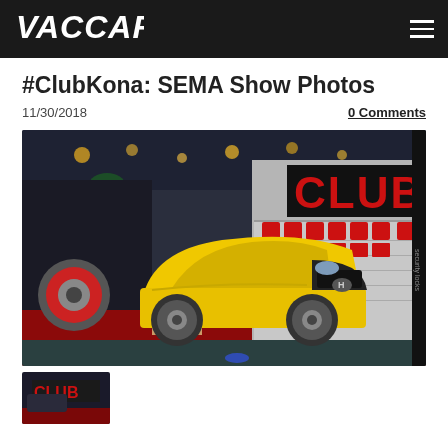Vaccar
#ClubKona: SEMA Show Photos
11/30/2018
0 Comments
[Figure (photo): Yellow Hyundai Kona custom build on display at SEMA Show booth with red carpet, CLUB branded backdrop with security products on wall, and other vehicles visible in background]
[Figure (photo): Thumbnail of another SEMA show photo, partially visible at bottom of page]